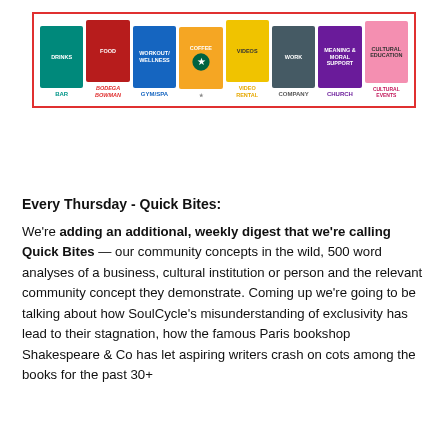[Figure (infographic): City services infographic showing colored cards: DRINKS/BAR (teal), FOOD/BODEGA BOWMAN (dark red), WORKOUT-WELLNESS/GYM-SPA (blue), COFFEE/Starbucks (orange/yellow), VIDEOS/VIDEO RENTAL (yellow), WORK/COMPANY (dark gray), MEANING & MORAL SUPPORT/CHURCH (purple), CULTURAL EDUCATION/CULTURAL EVENTS (pink)]
CITY SERVICES
Every Thursday - Quick Bites:
We're adding an additional, weekly digest that we're calling Quick Bites — our community concepts in the wild, 500 word analyses of a business, cultural institution or person and the relevant community concept they demonstrate. Coming up we're going to be talking about how SoulCycle's misunderstanding of exclusivity has lead to their stagnation, how the famous Paris bookshop Shakespeare & Co has let aspiring writers crash on cots among the books for the past 30+ years, and the upcoming San Sebastian national abatthat